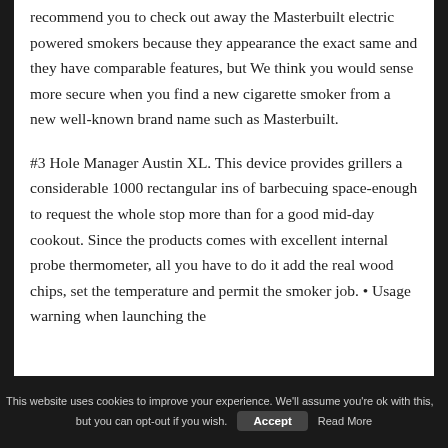recommend you to check out away the Masterbuilt electric powered smokers because they appearance the exact same and they have comparable features, but We think you would sense more secure when you find a new cigarette smoker from a new well-known brand name such as Masterbuilt.
#3 Hole Manager Austin XL. This device provides grillers a considerable 1000 rectangular ins of barbecuing space-enough to request the whole stop more than for a good mid-day cookout. Since the products comes with excellent internal probe thermometer, all you have to do it add the real wood chips, set the temperature and permit the smoker job. • Usage warning when launching the
This website uses cookies to improve your experience. We'll assume you're ok with this, but you can opt-out if you wish. Accept Read More